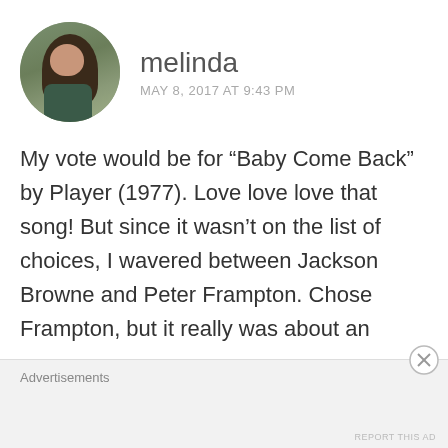[Figure (photo): Circular avatar photo of a woman with long dark hair and glasses, in an outdoor setting with green background]
melinda
MAY 8, 2017 AT 9:43 PM
My vote would be for “Baby Come Back” by Player (1977). Love love love that song! But since it wasn’t on the list of choices, I wavered between Jackson Browne and Peter Frampton. Chose Frampton, but it really was about an
Advertisements